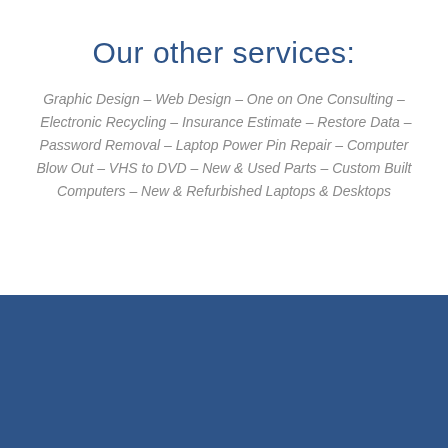Our other services:
Graphic Design – Web Design – One on One Consulting – Electronic Recycling – Insurance Estimate – Restore Data – Password Removal – Laptop Power Pin Repair – Computer Blow Out – VHS to DVD – New & Used Parts – Custom Built Computers – New & Refurbished Laptops & Desktops